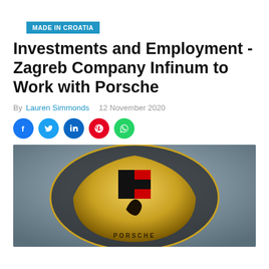MADE IN CROATIA
Investments and Employment - Zagreb Company Infinum to Work with Porsche
By Lauren Simmonds   12 November 2020
[Figure (infographic): Social media share icons: Facebook, Twitter, LinkedIn, Pinterest, WhatsApp]
[Figure (photo): Close-up photograph of a gold Porsche crest/badge emblem showing the horse and crest design with red and black sections]